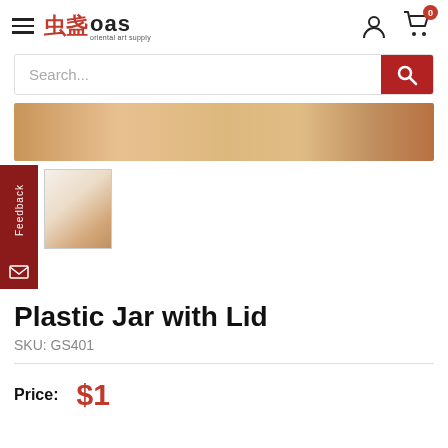OAS Oriental Art Supply — navigation header with hamburger menu, logo, user icon, cart icon with badge 0
[Figure (screenshot): Search bar with placeholder text 'Search...' and red search button]
[Figure (photo): Product banner image showing a plastic jar with lid, tan/brown wood-like background]
[Figure (photo): Thumbnail image of plastic jar with lid, with red Feedback tab on left side]
Plastic Jar with Lid
SKU: GS401
Price: $1